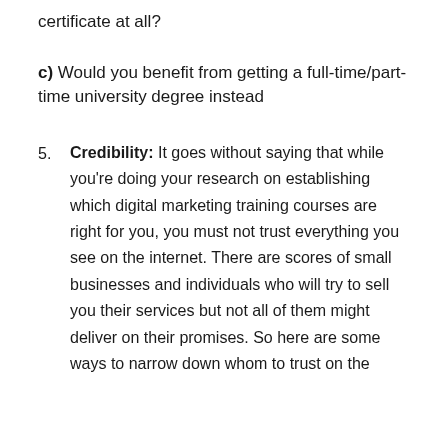c) Would you benefit from getting a full-time/part-time university degree instead
5. Credibility: It goes without saying that while you're doing your research on establishing which digital marketing training courses are right for you, you must not trust everything you see on the internet. There are scores of small businesses and individuals who will try to sell you their services but not all of them might deliver on their promises. So here are some ways to narrow down whom to trust on the